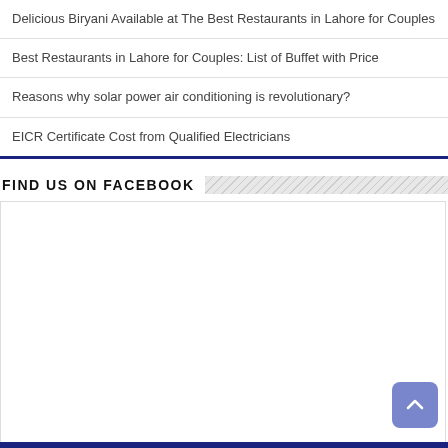Delicious Biryani Available at The Best Restaurants in Lahore for Couples
Best Restaurants in Lahore for Couples: List of Buffet with Price
Reasons why solar power air conditioning is revolutionary?
EICR Certificate Cost from Qualified Electricians
FIND US ON FACEBOOK
[Figure (other): Facebook widget placeholder area (empty white box)]